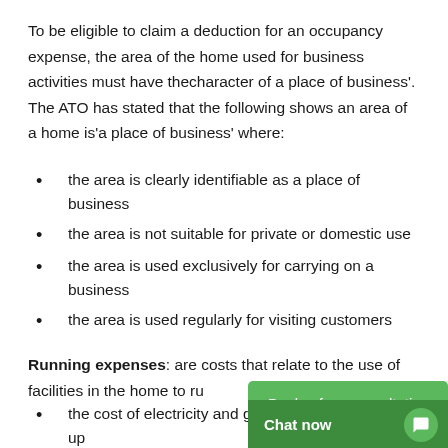To be eligible to claim a deduction for an occupancy expense, the area of the home used for business activities must have the 'character of a place of business'. The ATO has stated that the following shows an area of a home is 'a place of business' where:
the area is clearly identifiable as a place of business
the area is not suitable for private or domestic use
the area is used exclusively for carrying on a business
the area is used regularly for visiting customers
Running expenses: are costs that relate to the use of facilities in the home to ru...
the cost of electricity and gas to heat, cool or light up a room